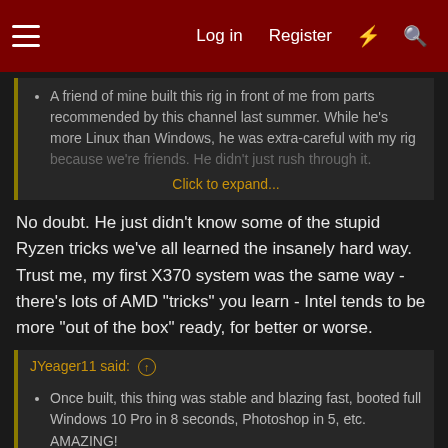Log in  Register
A friend of mine built this rig in front of me from parts recommended by this channel last summer. While he's more Linux than Windows, he was extra-careful with my rig because we're friends. He didn't just rush through it.
Click to expand...
No doubt. He just didn't know some of the stupid Ryzen tricks we've all learned the insanely hard way. Trust me, my first X370 system was the same way - there's lots of AMD "tricks" you learn - Intel tends to be more "out of the box" ready, for better or worse.
JYeager11 said:
Once built, this thing was stable and blazing fast, booted full Windows 10 Pro in 8 seconds, Photoshop in 5, etc. AMAZING!
As soon as I get the thing home (same-day) I install my important Adobe + Microsoft apps, as well as SURFSHARK VPN for Windows.
I set the VPN software to load at startup but NEVER auto-
Click to expand...